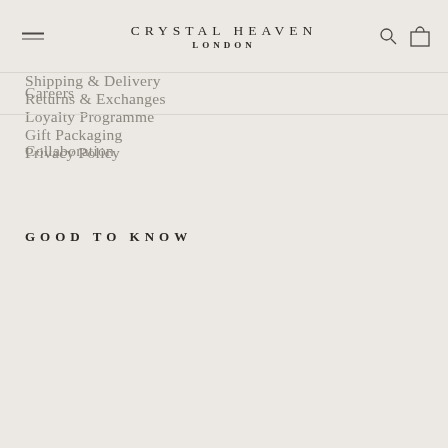CRYSTAL HEAVEN LONDON
Careers
Collaboration
GOOD TO KNOW
Shipping & Delivery
Returns & Exchanges
Loyalty Programme
Gift Packaging
INFO
Privacy Policy